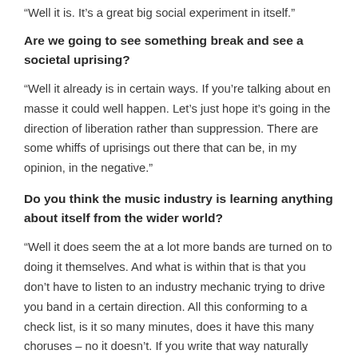“Well it is. It’s a great big social experiment in itself.”
Are we going to see something break and see a societal uprising?
“Well it already is in certain ways. If you’re talking about en masse it could well happen. Let’s just hope it’s going in the direction of liberation rather than suppression. There are some whiffs of uprisings out there that can be, in my opinion, in the negative.”
Do you think the music industry is learning anything about itself from the wider world?
“Well it does seem the at a lot more bands are turned on to doing it themselves. And what is within that is that you don’t have to listen to an industry mechanic trying to drive you band in a certain direction. All this conforming to a check list, is it so many minutes, does it have this many choruses – no it doesn’t. If you write that way naturally then that’s fine. But to squeeze yourself into a particular